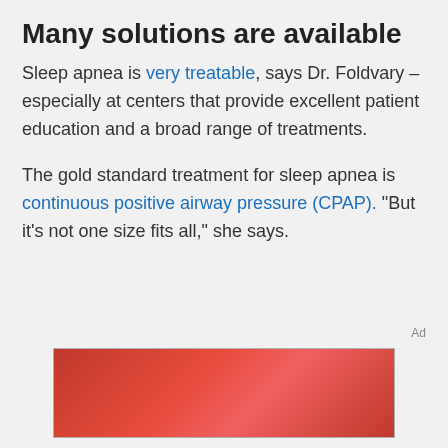Many solutions are available
Sleep apnea is very treatable, says Dr. Foldvary – especially at centers that provide excellent patient education and a broad range of treatments.
The gold standard treatment for sleep apnea is continuous positive airway pressure (CPAP). "But it's not one size fits all," she says.
[Figure (other): Red advertisement banner at the bottom of the page with blurred text overlay]